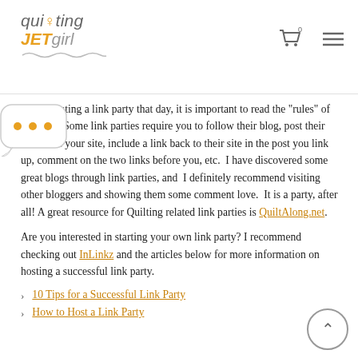Quilting JETgirl — navigation header with logo, cart, and menu
that is hosting a link party that day, it is important to read the “rules” of that host. Some link parties require you to follow their blog, post their button on your site, include a link back to their site in the post you link up, comment on the two links before you, etc.  I have discovered some great blogs through link parties, and I definitely recommend visiting other bloggers and showing them some comment love.  It is a party, after all! A great resource for Quilting related link parties is QuiltAlong.net.
Are you interested in starting your own link party? I recommend checking out InLinkz and the articles below for more information on hosting a successful link party.
10 Tips for a Successful Link Party
How to Host a Link Party